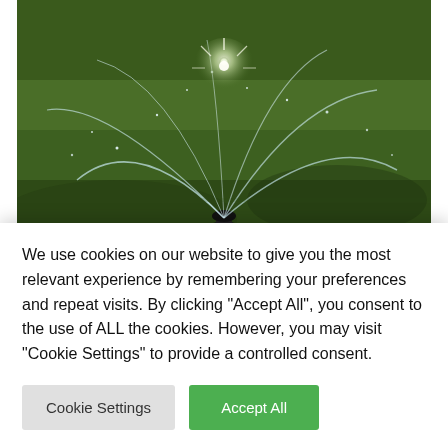[Figure (photo): A lawn sprinkler in action on green grass, viewed close-up. A sparkling arc of water sprays outward, backlit to show the water droplets. The scene is outdoors with lush grass in the background.]
Wholesale diamonds can be a very good selection if you are arranging to buy diamonds. They are extra reasonably priced and however higher high quality. Diamond wholesale in Dallas is getting bought...
We use cookies on our website to give you the most relevant experience by remembering your preferences and repeat visits. By clicking "Accept All", you consent to the use of ALL the cookies. However, you may visit "Cookie Settings" to provide a controlled consent.